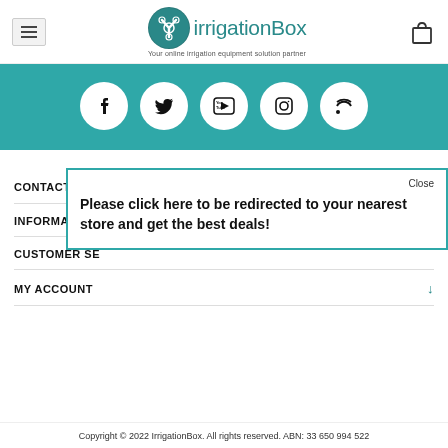[Figure (logo): irrigationBox logo with teal circle icon and text 'irrigationBox', tagline 'Your online irrigation equipment solution partner']
[Figure (infographic): Teal band with five white circular social media icons: Facebook, Twitter, YouTube, Instagram, RSS]
CONTACT INFO
INFORMATION
CUSTOMER SE...
Please click here to be redirected to your nearest store and get the best deals!
MY ACCOUNT
Copyright © 2022 IrrigationBox. All rights reserved. ABN: 33 650 994 522